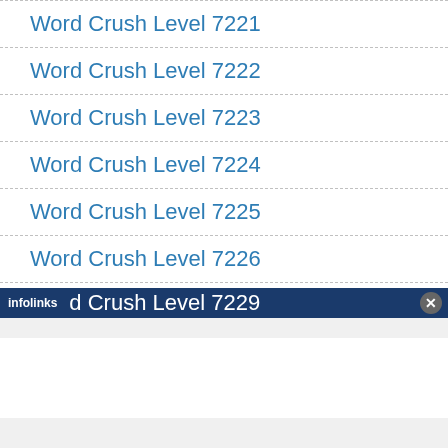Word Crush Level 7221
Word Crush Level 7222
Word Crush Level 7223
Word Crush Level 7224
Word Crush Level 7225
Word Crush Level 7226
Word Crush Level 7227
Word Crush Level 7228
Word Crush Level 7229